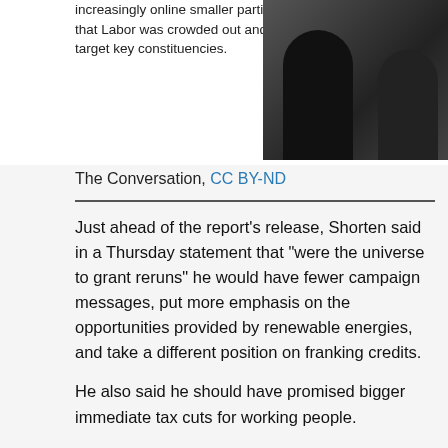[Figure (photo): Black and white photo of two men in suits, one with head bowed]
increasingly online smaller parties, meant that Labor was crowded out and failed to target key constituencies.
The Conversation, CC BY-ND
Just ahead of the report's release, Shorten said in a Thursday statement that "were the universe to grant reruns" he would have fewer campaign messages, put more emphasis on the opportunities provided by renewable energies, and take a different position on franking credits.
He also said he should have promised bigger immediate tax cuts for working people.
Shorten reiterated his intention to remain in politics for the next 20 years.
The report warns that "care needs to be taken to avoid Labor becoming a grievance-based organisation," saying it "has been increasingly mobilised to address the political grievances of a vast and disparate constituency".